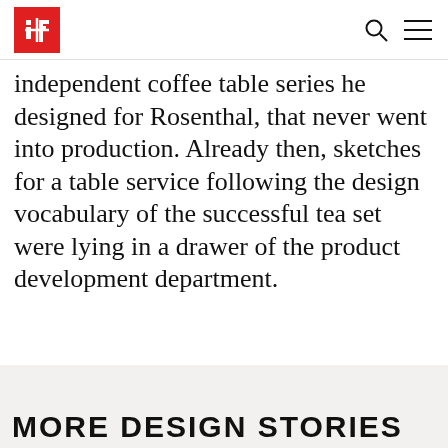iF logo, search icon, menu icon
independent coffee table series he designed for Rosenthal, that never went into production. Already then, sketches for a table service following the design vocabulary of the successful tea set were lying in a drawer of the product development department.
MORE DESIGN STORIES